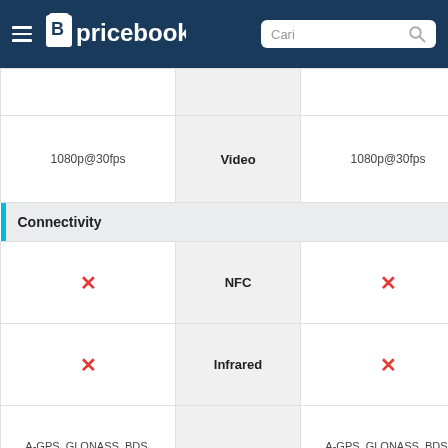Pricebook — Cari
| Device 1 | Spec | Device 2 |
| --- | --- | --- |
|  |  |  |
| 1080p@30fps | Video | 1080p@30fps |
| Connectivity |  |  |
| ✗ | NFC | ✗ |
| ✗ | Infrared | ✗ |
| A-GPS, GLONASS, BDS, GALILEO | GPS | A-GPS, GLONASS, BDS, GALILEO |
| Type-C | USB | Type-C |